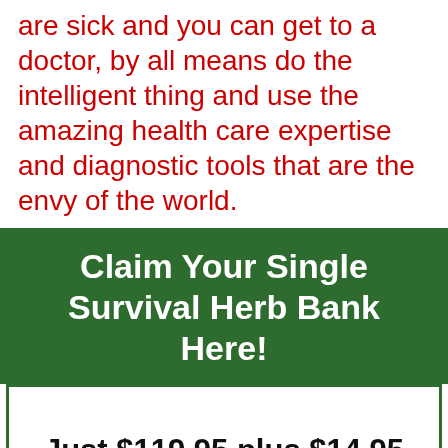are sick and you can get to a doctor, by all means do the intelligent thing and use the amazing health care expertise and diagnostic tools that are the envy of the world.
Claim Your Single Survival Herb Bank Here!
Just $119.95 plus $14.95 shipping/handling!